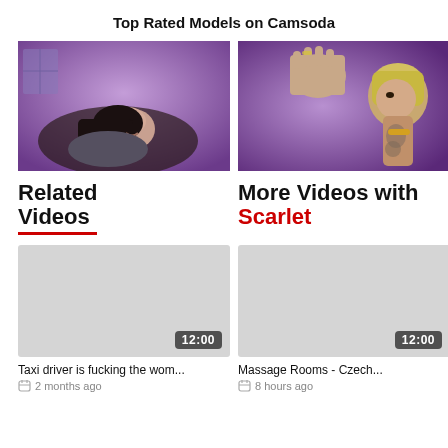Top Rated Models on Camsoda
[Figure (photo): Two side-by-side video thumbnails showing women in purple-lit rooms]
Related Videos
More Videos with Scarlet
[Figure (screenshot): Video thumbnail placeholder with duration badge 12:00]
Taxi driver is fucking the wom...
2 months ago
[Figure (screenshot): Video thumbnail placeholder with duration badge 12:00]
Massage Rooms - Czech...
8 hours ago